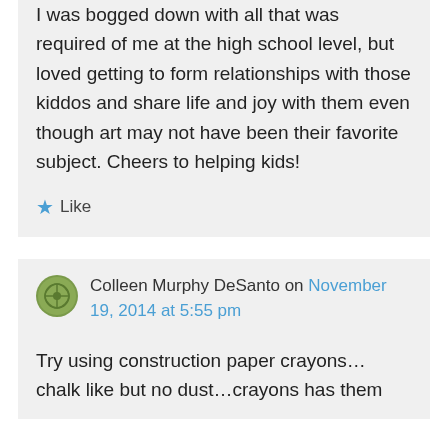I was bogged down with all that was required of me at the high school level, but loved getting to form relationships with those kiddos and share life and joy with them even though art may not have been their favorite subject. Cheers to helping kids!
★ Like
Colleen Murphy DeSanto on November 19, 2014 at 5:55 pm
Try using construction paper crayons… chalk like but no dust…crayons has them